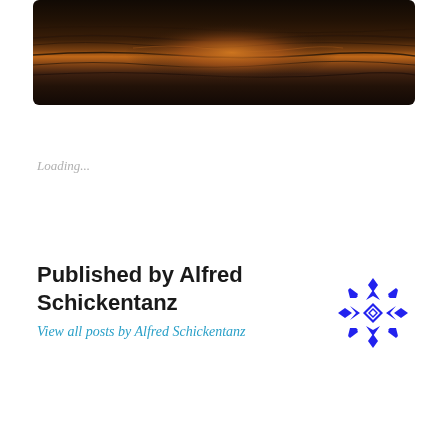[Figure (photo): Dark ocean water with orange-golden sunset reflection on the waves, moody and atmospheric]
Loading...
Published by Alfred Schickentanz
View all posts by Alfred Schickentanz
[Figure (logo): Blue geometric snowflake/cross pattern logo for Alfred Schickentanz]